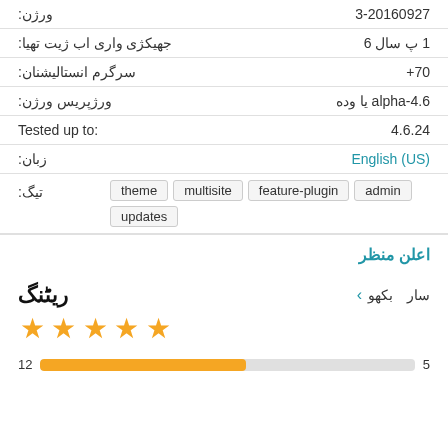| ورژن: | 3-20160927 |
| جهیکژی واری اب ژیت تهیا: | 6 سال پ 1 |
| سرگرم انستالیشنان: | +70 |
| ورژپریس ورژن: | alpha-4.6 یا وده |
| Tested up to: | 4.6.24 |
| زبان: | English (US) |
| تیگ: | theme multisite feature-plugin admin updates |
اعلن منظر
ریٹنگ
سار   بکھو ‹
[Figure (other): 5 gold stars rating display]
5 ستارے — progress bar (orange fill, partial shown)